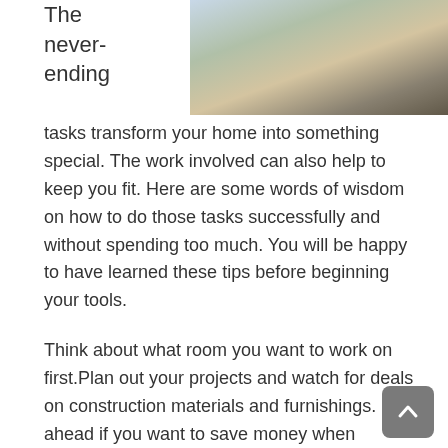[Figure (photo): Partial photo of a person working indoors, visible at the top right of the page]
The never-ending
tasks transform your home into something special. The work involved can also help to keep you fit. Here are some words of wisdom on how to do those tasks successfully and without spending too much. You will be happy to have learned these tips before beginning your tools.
Think about what room you want to work on first.Plan out your projects and watch for deals on construction materials and furnishings. Plan ahead if you want to save money when improving your home.
You need PVC cement and PVC primer to attach two